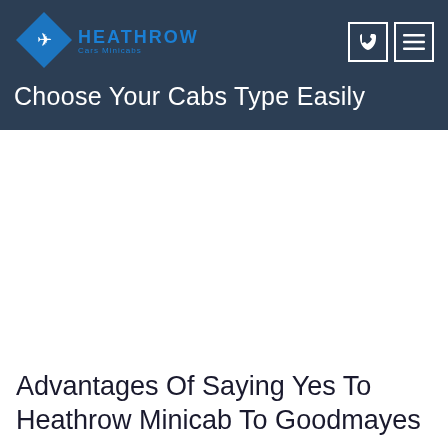[Figure (logo): Heathrow Cars Minicabs logo with diamond shape and airplane icon, blue text]
Choose Your Cabs Type Easily
Advantages Of Saying Yes To Heathrow Minicab To Goodmayes